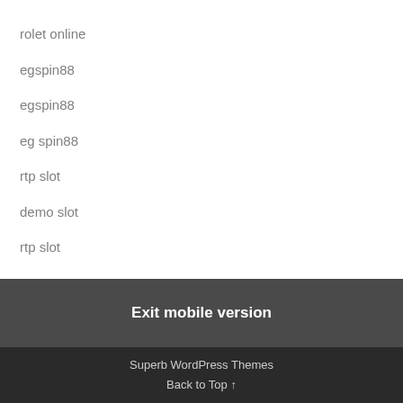rolet online
egspin88
egspin88
eg spin88
rtp slot
demo slot
rtp slot
Exit mobile version
Superb WordPress Themes
Back to Top ↑